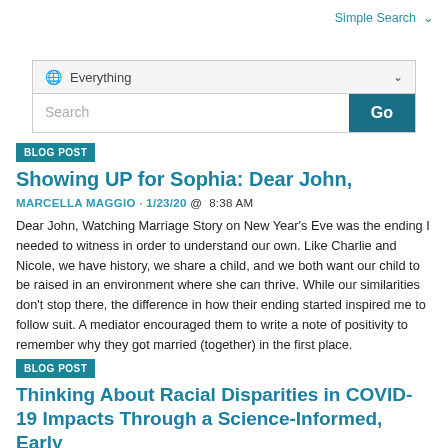Simple Search ▾
[Figure (screenshot): Search box with globe icon, dropdown showing 'Everything', search input field, and 'Go' button]
BLOG POST
Showing UP for Sophia: Dear John,
MARCELLA MAGGIO · 1/23/20 @ 8:38 AM
Dear John, Watching Marriage Story on New Year's Eve was the ending I needed to witness in order to understand our own. Like Charlie and Nicole, we have history, we share a child, and we both want our child to be raised in an environment where she can thrive. While our similarities don't stop there, the difference in how their ending started inspired me to follow suit. A mediator encouraged them to write a note of positivity to remember why they got married (together) in the first place.
BLOG POST
Thinking About Racial Disparities in COVID-19 Impacts Through a Science-Informed, Early